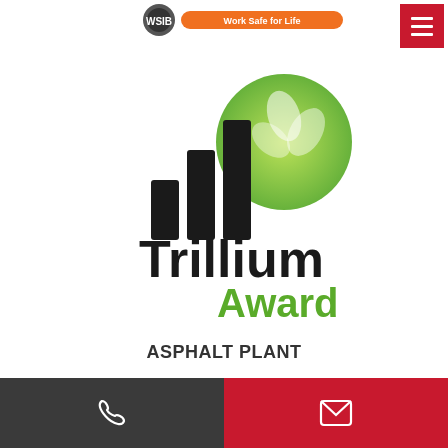[Figure (logo): WSIB/safety certification logo strip at top with orange 'Work Safe for Life' banner]
[Figure (logo): Trillium Award logo: black bar chart icon with green circular leaf/plant emblem, text 'Trillium' in black and 'Award' in green]
ASPHALT PLANT
345 Attwell Drive,
Etobicoke, ON M9W 5C1
[Figure (infographic): Bottom footer bar split in two: dark grey left half with white phone icon, red right half with white envelope icon]